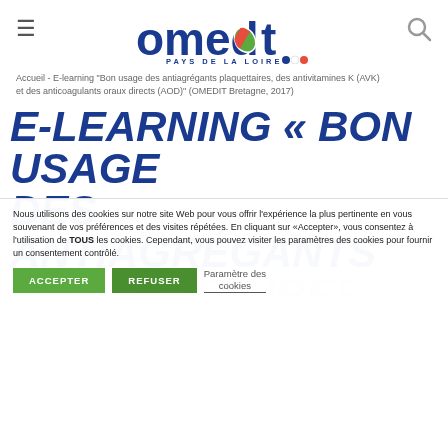omedit PAYS DE LA LOIRE
Accueil - E-learning "Bon usage des antiagrégants plaquettaires, des antivitamines K (AVK) et des anticoagulants oraux directs (AOD)" (OMEDIT Bretagne, 2017)
E-LEARNING « BON USAGE DES ANTIAGRÉGANTS PLAQUETTAIRES, DES ANTIVITAMINES K (AVK) ET DES ANTICOAGULANTS ORAUX DIRECTS (AOD)
Nous utilisons des cookies sur notre site Web pour vous offrir l'expérience la plus pertinente en vous souvenant de vos préférences et des visites répétées. En cliquant sur «Accepter», vous consentez à l'utilisation de TOUS les cookies. Cependant, vous pouvez visiter les paramètres des cookies pour fournir un consentement contrôlé.
ACCEPTER | REFUSER | Paramètre des cookies